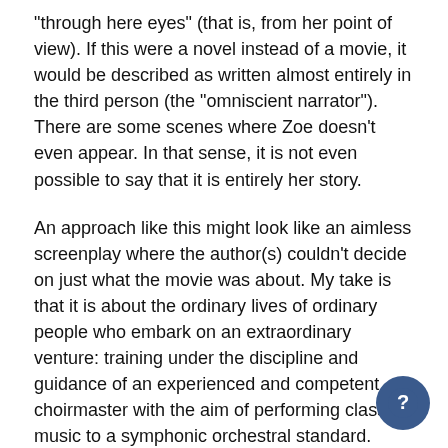"through here eyes" (that is, from her point of view). If this were a novel instead of a movie, it would be described as written almost entirely in the third person (the "omniscient narrator"). There are some scenes where Zoe doesn't even appear. In that sense, it is not even possible to say that it is entirely her story.
An approach like this might look like an aimless screenplay where the author(s) couldn't decide on just what the movie was about. My take is that it is about the ordinary lives of ordinary people who embark on an extraordinary venture: training under the discipline and guidance of an experienced and competent choirmaster with the aim of performing classical music to a symphonic orchestral standard.
There are more than three story threads here, just as there are many story threads in the lives of most people. They make friends, have disagreements, show quirks (even to kleptomania) and egos, occasionally deliver remarkable homespun wisdom, and sometimes get in sufficient trouble to blow themselves out of the story. Most of the cast are character actors who give the appearance, at least, of needing to do little more in the way of acting than just be themselves.